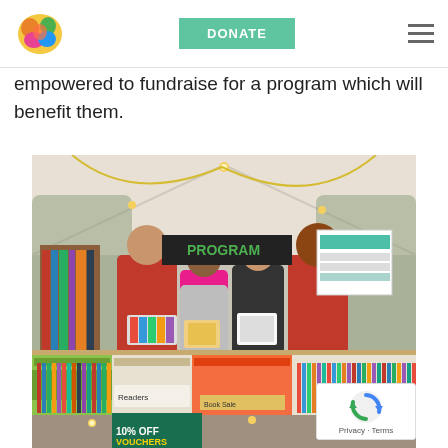DONATE
empowered to fundraise for a program which will benefit them.
[Figure (photo): Four people standing behind tables full of books inside a tent at what appears to be a book fair or sale event. They are holding books and smiling. Bookshelves are visible in the background. Tables are covered with boxes of books and DVDs.]